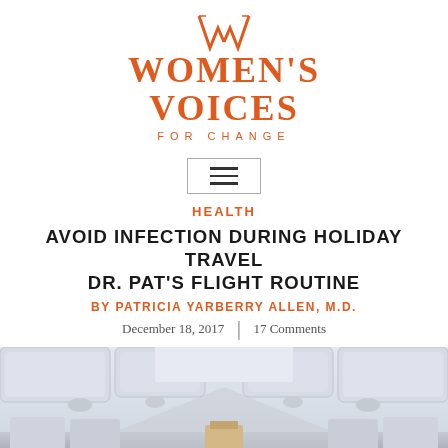[Figure (logo): Women's Voices for Change logo — stylized W mark above bold orange serif text WOMEN'S VOICES with FOR CHANGE in spaced caps below]
[Figure (other): Hamburger menu button — three horizontal lines inside a thin rectangular border]
HEALTH
AVOID INFECTION DURING HOLIDAY TRAVEL DR. PAT'S FLIGHT ROUTINE
BY PATRICIA YARBERRY ALLEN, M.D.
December 18, 2017  |  17 Comments
[Figure (photo): Interior of an airplane cabin viewed from the aisle, showing overhead compartments and seats, blurred/soft focus]